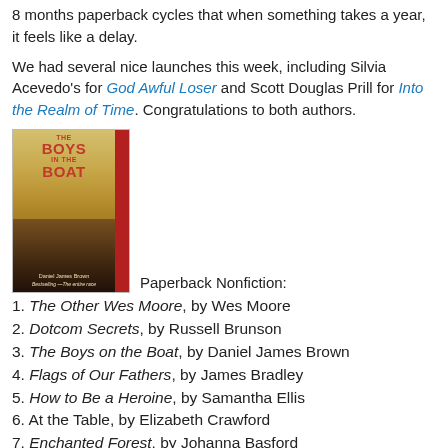8 months paperback cycles that when something takes a year, it feels like a delay.
We had several nice launches this week, including Silvia Acevedo's for God Awful Loser and Scott Douglas Prill for Into the Realm of Time. Congratulations to both authors.
[Figure (photo): Book cover of 'The Boys in the Boat' by Daniel James Brown, with red title text and a sepia rowing scene]
Paperback Nonfiction:
1. The Other Wes Moore, by Wes Moore
2. Dotcom Secrets, by Russell Brunson
3. The Boys on the Boat, by Daniel James Brown
4. Flags of Our Fathers, by James Bradley
5. How to Be a Heroine, by Samantha Ellis
6. At the Table, by Elizabeth Crawford
7. Enchanted Forest, by Johanna Basford
8. Milwaukee Mafia, by Gavin Schmitt (event at MPL Centr…